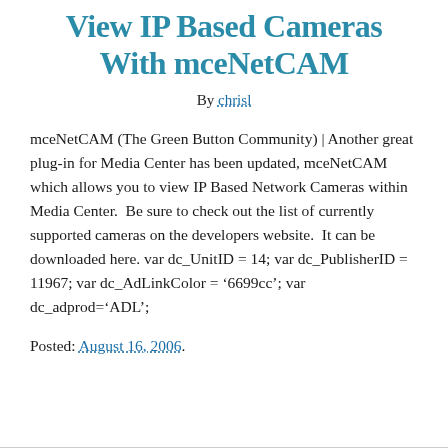View IP Based Cameras With mceNetCAM
By chrisl
mceNetCAM (The Green Button Community) | Another great plug-in for Media Center has been updated, mceNetCAM which allows you to view IP Based Network Cameras within Media Center.  Be sure to check out the list of currently supported cameras on the developers website.  It can be downloaded here. var dc_UnitID = 14; var dc_PublisherID = 11967; var dc_AdLinkColor = ‘6699cc’; var dc_adprod=‘ADL’;
Posted: August 16, 2006.